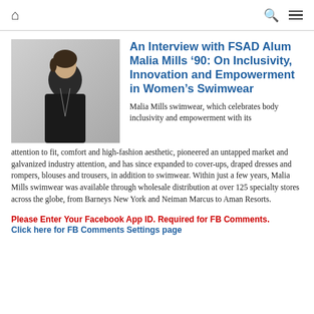Home | Search | Menu
[Figure (photo): Portrait photo of Malia Mills, a woman in a black leather jacket with a necklace, smiling against a light gray background]
An Interview with FSAD Alum Malia Mills ’90: On Inclusivity, Innovation and Empowerment in Women’s Swimwear
Malia Mills swimwear, which celebrates body inclusivity and empowerment with its attention to fit, comfort and high-fashion aesthetic, pioneered an untapped market and galvanized industry attention, and has since expanded to cover-ups, draped dresses and rompers, blouses and trousers, in addition to swimwear. Within just a few years, Malia Mills swimwear was available through wholesale distribution at over 125 specialty stores across the globe, from Barneys New York and Neiman Marcus to Aman Resorts.
Please Enter Your Facebook App ID. Required for FB Comments. Click here for FB Comments Settings page